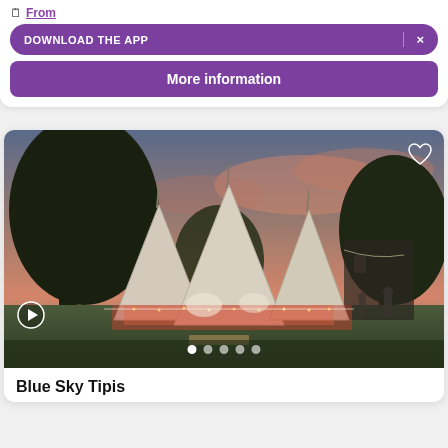From
DOWNLOAD THE APP  ×
More information
[Figure (photo): Outdoor wedding tipi tents at sunset/dusk with pink sky, festive lighting inside, trees and building in background, guests visible]
Blue Sky Tipis